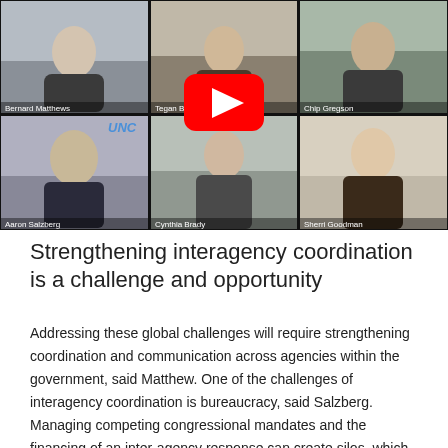[Figure (screenshot): A video conference screenshot (YouTube thumbnail style with red play button overlay) showing 6 participants in a 3x2 grid: top row: Bernard Matthews, Tegan Blaine, Chip Gregson; bottom row: Aaron Salzberg (with UNC logo visible), Cynthia Brady, Sherri Goodman]
Strengthening interagency coordination is a challenge and opportunity
Addressing these global challenges will require strengthening coordination and communication across agencies within the government, said Matthew. One of the challenges of interagency coordination is bureaucracy, said Salzberg. Managing competing congressional mandates and the financing of an inter-agency response can create silos, which can impede our work, he said. The